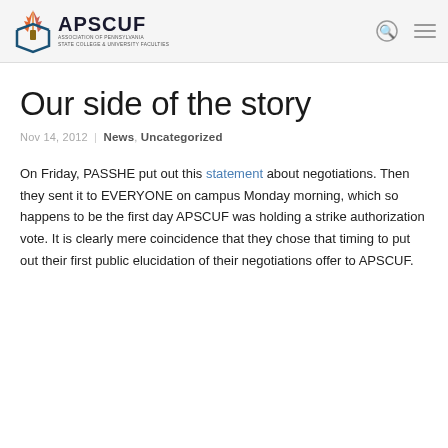APSCUF — Association of Pennsylvania State College & University Faculties
Our side of the story
Nov 14, 2012 | News, Uncategorized
On Friday, PASSHE put out this statement about negotiations. Then they sent it to EVERYONE on campus Monday morning, which so happens to be the first day APSCUF was holding a strike authorization vote. It is clearly mere coincidence that they chose that timing to put out their first public elucidation of their negotiations offer to APSCUF.